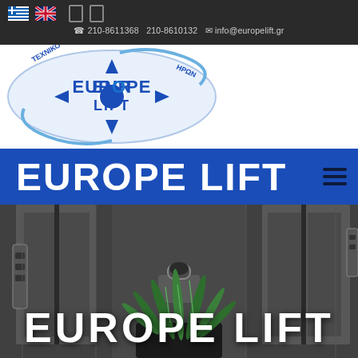210-8611368  210-8610132  info@europelift.gr
[Figure (logo): Europe Lift company logo: oval shape with compass arrows, text EUROPE LIFT in blue, circular Greek text around the edge]
EUROPE LIFT
[Figure (photo): Photo of modern elevator lobby interior with dark grey textured walls, two elevator doors with stainless steel panels and control buttons, and a potted snake plant in the foreground]
EUROPE LIFT